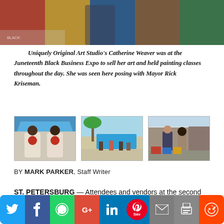[Figure (photo): Main photo of people at the Juneteenth Black Business Expo with colorful artwork displayed behind them]
Uniquely Original Art Studio's Catherine Weaver was at the Juneteenth Black Business Expo to sell her art and held painting classes throughout the day. She was seen here posing with Mayor Rick Kriseman.
[Figure (photo): Three thumbnail photos from the Juneteenth Black Business Expo: (1) Two people posing in white t-shirts, (2) Outdoor scene with blue tents and people browsing, (3) People standing at an outdoor vendor booth]
BY MARK PARKER, Staff Writer
ST. PETERSBURG — Attendees and vendors at the second